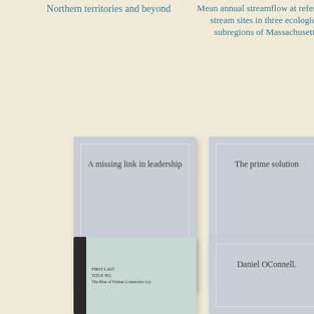Northern territories and beyond
Mean annual streamflow at reference-stream sites in three ecological subregions of Massachusetts
[Figure (illustration): Book cover placeholder card with text 'A missing link in leadership']
A missing link in leadership
[Figure (illustration): Book cover placeholder card with text 'The prime solution']
The prime solution
[Figure (photo): Photograph of a physical book with a dark spine and light cover, showing small text labels on the cover]
[Figure (illustration): Book cover placeholder card with text 'Daniel OConnell.']